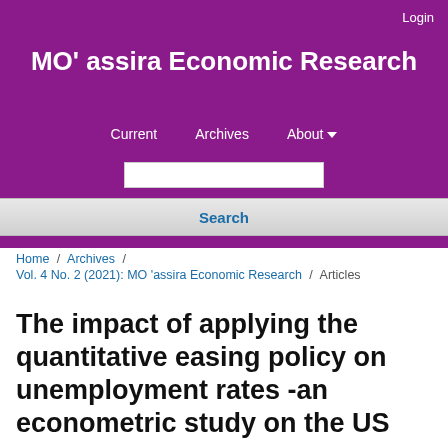Login
MO' assira Economic Research
Current   Archives   About
Search
Home / Archives / Vol. 4 No. 2 (2021): MO 'assira Economic Research / Articles
The impact of applying the quantitative easing policy on unemployment rates -an econometric study on the US